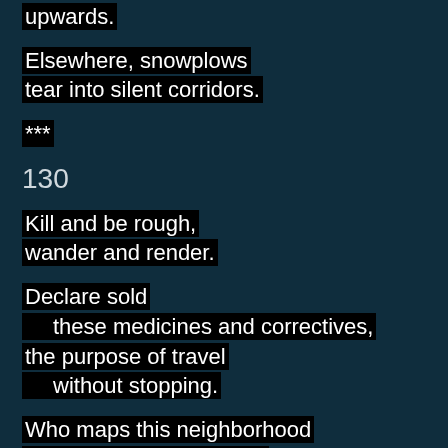upwards.
Elsewhere, snowplows
tear into silent corridors.
***
130
Kill and be rough,
wander and render.
Declare sold
    these medicines and correctives,
the purpose of travel
    without stopping.
Who maps this neighborhood
    of points and signals?